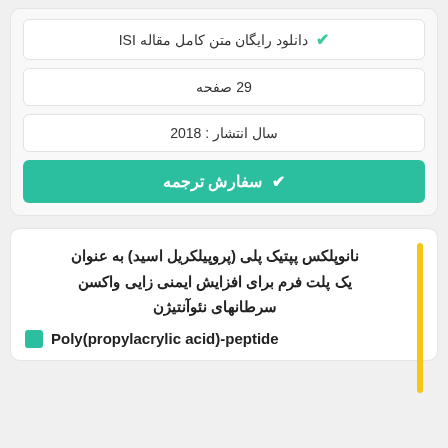✔ دانلود رایگان متن کامل مقاله ISI
29 صفحه
سال انتشار : 2018
✔ سفارش ترجمه
نانوپلکس پپتیک پلی (پروپیلکریل اسید) به عنوان یک پلت فرم برای افزایش ایمنی زایی واکسن سرطانهای نئوآنتیژن
Poly(propylacrylic acid)-peptide